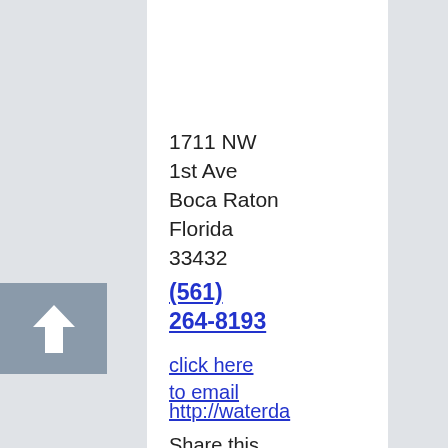1711 NW
1st Ave
Boca Raton
Florida
33432
(561) 264-8193
click here to email
http://waterda
Share this page:
[Figure (other): Facebook share button, blue background with white 'f' icon]